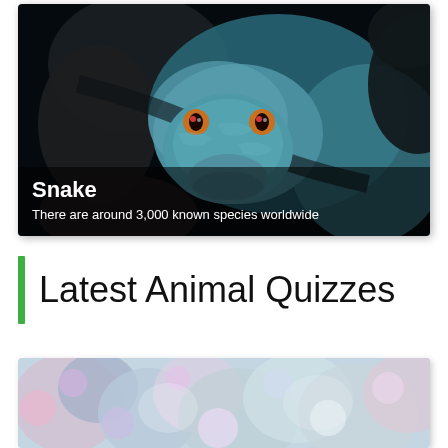[Figure (photo): Close-up photo of a blue snake with orange eyes coiled against a dark background]
Snake
There are around 3,000 known species worldwide
Latest Animal Quizzes
[Figure (photo): Partially visible image of colorful coral reef or sea anemones with blue and pink tones]